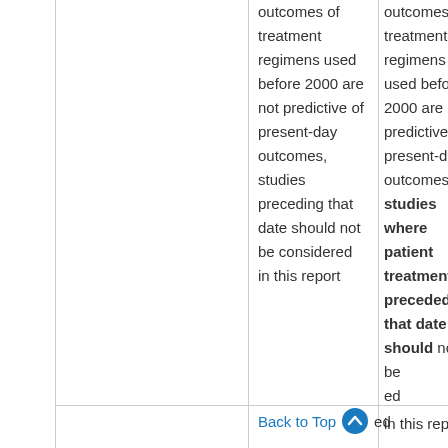|  |  | outcomes of treatment regimens used before 2000 are not predictive of present-day outcomes, studies preceding that date should not be considered in this report | outcomes of treatment regimens used before 2000 are not predictive of present-day outcomes, studies where patient treatment preceded that date should not be considered in this report |